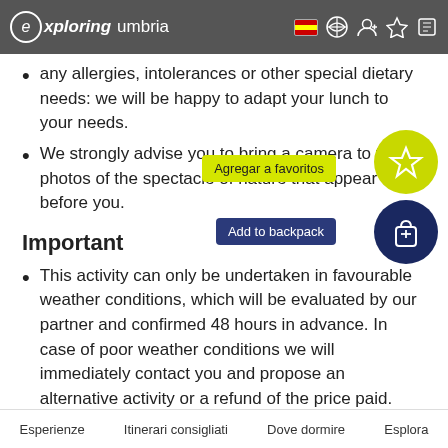exploring umbria
any allergies, intolerances or other special dietary needs: we will be happy to adapt your lunch to your needs.
We strongly advise you to bring a camera to take photos of the spectacle of nature that appear before you.
Important
This activity can only be undertaken in favourable weather conditions, which will be evaluated by our partner and confirmed 48 hours in advance. In case of poor weather conditions we will immediately contact you and propose an alternative activity or a refund of the price paid.
This activity is subject to our operators' availability. We have a large selection of collaborators capable of leading this activity,
Esperienze   Itinerari consigliati   Dove dormire   Esplora